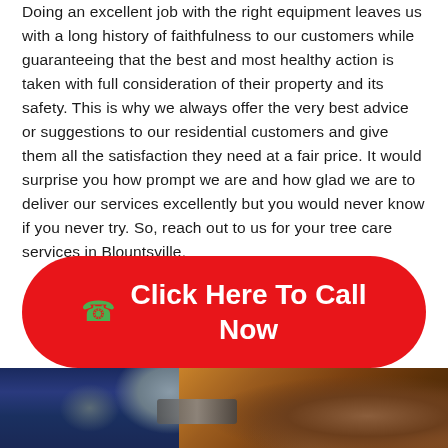Doing an excellent job with the right equipment leaves us with a long history of faithfulness to our customers while guaranteeing that the best and most healthy action is taken with full consideration of their property and its safety. This is why we always offer the very best advice or suggestions to our residential customers and give them all the satisfaction they need at a fair price. It would surprise you how prompt we are and how glad we are to deliver our services excellently but you would never know if you never try. So, reach out to us for your tree care services in Blountsville.
[Figure (infographic): Red rounded button with green phone icon and white text reading 'Click Here To Call Now']
[Figure (photo): Photo of a person in dark clothing using a chainsaw on a log, surrounded by autumn leaves on the ground]